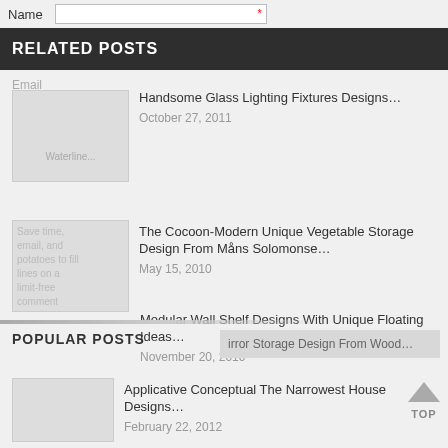Name
RELATED POSTS
Email
Handsome Glass Lighting Fixtures Designs… October 27, 2011
The Cocoon-Modern Unique Vegetable Storage Design From Måns Solomonse… May 15, 2010
Modular Wall Shelf Designs With Unique Floating Ideas… November 20, 2010
POPULAR POSTS
irror Storage Design From Wood…
Applicative Conceptual The Narrowest House Designs… February 22, 2012